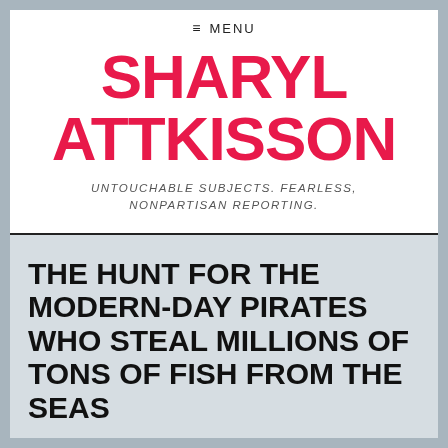≡ MENU
SHARYL ATTKISSON
UNTOUCHABLE SUBJECTS. FEARLESS, NONPARTISAN REPORTING.
THE HUNT FOR THE MODERN-DAY PIRATES WHO STEAL MILLIONS OF TONS OF FISH FROM THE SEAS